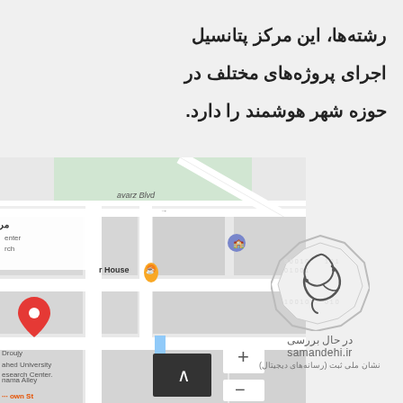رشته‌ها، این مرکز پتانسیل اجرای پروژه‌های مختلف در حوزه شهر هوشمند را دارد.
[Figure (map): Google Maps screenshot showing location near Shahed University Research Center with street labels including 'avarz Blvd', 'Shorouy', 'Panahama Alley', orange location pin, red map marker, map controls (up arrow, plus, minus buttons)]
[Figure (logo): Samandehi.ir logo - octagonal badge with Arabic/Persian calligraphy inside, text below reading 'در حال بررسی', 'samandehi.ir', and 'نشان ملی ثبت (رسانه‌های دیجیتال)']